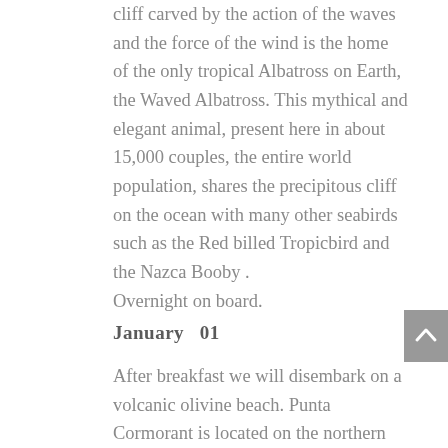cliff carved by the action of the waves and the force of the wind is the home of the only tropical Albatross on Earth, the Waved Albatross. This mythical and elegant animal, present here in about 15,000 couples, the entire world population, shares the precipitous cliff on the ocean with many other seabirds such as the Red billed Tropicbird and the Nazca Booby . Overnight on board.
January   01
After breakfast we will disembark on a volcanic olivine beach. Punta Cormorant is located on the northern coast of Floreana , and is home of the American Flamingo and Sea Turtles. The beach is partially flooded by a brackish lagoon where flamingos nest and feed, but often they are difficult to approach. Whimbrels, Herons and Black nacked Stlts are other common birds in wetlands. Not far